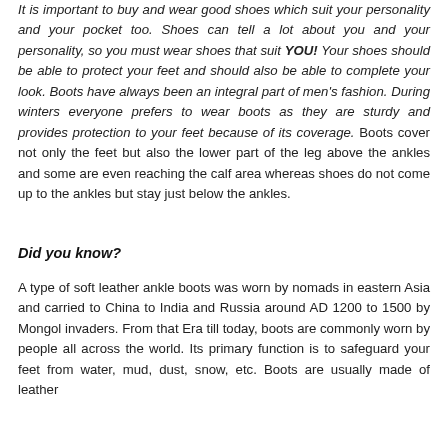It is important to buy and wear good shoes which suit your personality and your pocket too. Shoes can tell a lot about you and your personality, so you must wear shoes that suit YOU! Your shoes should be able to protect your feet and should also be able to complete your look. Boots have always been an integral part of men's fashion. During winters everyone prefers to wear boots as they are sturdy and provides protection to your feet because of its coverage. Boots cover not only the feet but also the lower part of the leg above the ankles and some are even reaching the calf area whereas shoes do not come up to the ankles but stay just below the ankles.
Did you know?
A type of soft leather ankle boots was worn by nomads in eastern Asia and carried to China to India and Russia around AD 1200 to 1500 by Mongol invaders. From that Era till today, boots are commonly worn by people all across the world. Its primary function is to safeguard your feet from water, mud, dust, snow, etc. Boots are usually made of leather